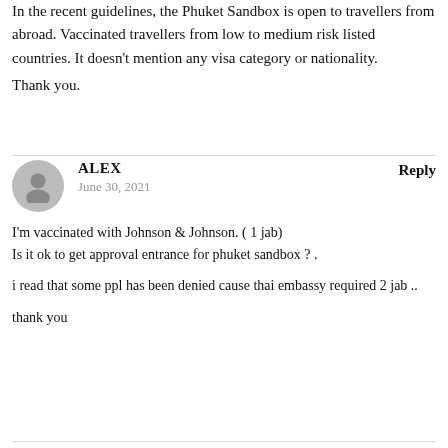In the recent guidelines, the Phuket Sandbox is open to travellers from abroad. Vaccinated travellers from low to medium risk listed countries. It doesn't mention any visa category or nationality. Thank you.
ALEX
June 30, 2021
I'm vaccinated with Johnson & Johnson. ( 1 jab)
Is it ok to get approval entrance for phuket sandbox ? .
i read that some ppl has been denied cause thai embassy required 2 jab ..
thank you